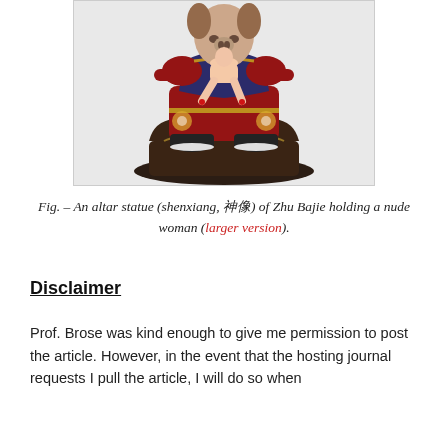[Figure (photo): A colorful altar statue (shenxiang) of Zhu Bajie, a pig-like deity figure dressed in red and gold robes, seated on a dark base, holding a nude woman figure.]
Fig. – An altar statue (shenxiang, 神像) of Zhu Bajie holding a nude woman (larger version).
Disclaimer
Prof. Brose was kind enough to give me permission to post the article. However, in the event that the hosting journal requests I pull the article, I will do so when